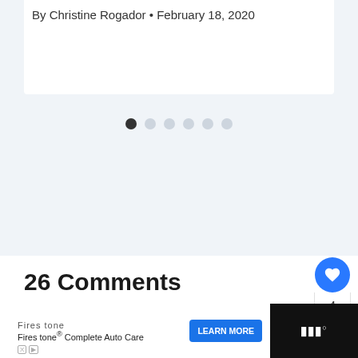By Christine Rogador • February 18, 2020
[Figure (other): Carousel dot indicators, 6 dots with first one active/dark]
26 Comments
Pingback: 13 Most Beautiful Towns And Cities in France - Journey To France
[Figure (infographic): What's Next panel with thumbnail, label and text '5 Best Towns And Cities T...']
[Figure (infographic): Advertisement bar: Firestone Complete Auto Care with Learn More button]